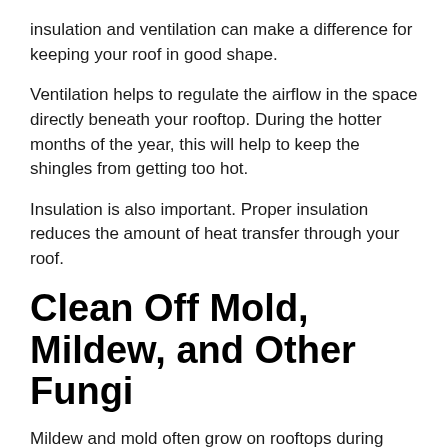insulation and ventilation can make a difference for keeping your roof in good shape.
Ventilation helps to regulate the airflow in the space directly beneath your rooftop. During the hotter months of the year, this will help to keep the shingles from getting too hot.
Insulation is also important. Proper insulation reduces the amount of heat transfer through your roof.
Clean Off Mold, Mildew, and Other Fungi
Mildew and mold often grow on rooftops during humid and warm summer months. While these growths might seem like they only present an aesthetic problem, they do not. Fungi and algae on your roof may not cause structural damage immediately. But they can cause